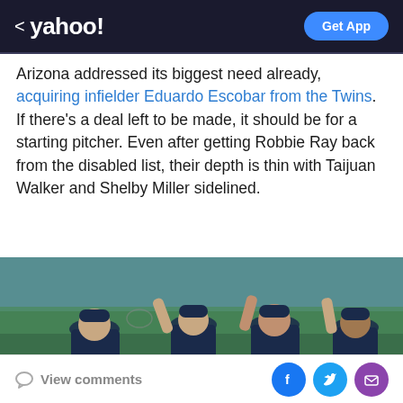< yahoo!   Get App
Arizona addressed its biggest need already, acquiring infielder Eduardo Escobar from the Twins. If there's a deal left to be made, it should be for a starting pitcher. Even after getting Robbie Ray back from the disabled list, their depth is thin with Taijuan Walker and Shelby Miller sidelined.
[Figure (photo): Atlanta Braves baseball players in navy uniforms giving high-fives on the field, with a blurred green stadium background.]
View comments  [Facebook] [Twitter] [Email]